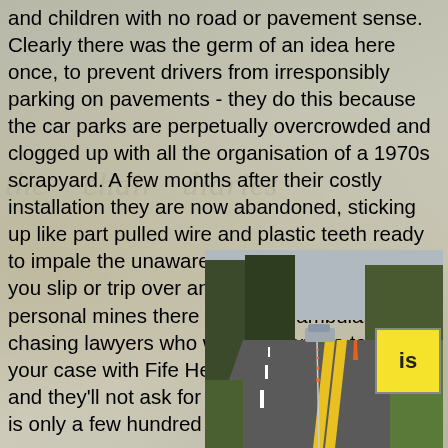and children with no road or pavement sense. Clearly there was the germ of an idea here once, to prevent drivers from irresponsibly parking on pavements - they do this because the car parks are perpetually overcrowded and clogged up with all the organisation of a 1970s scrapyard. A few months after their costly installation they are now abandoned, sticking up like part pulled wire and plastic teeth ready to impale the unaware or the careless. Should you slip or trip over any of these mini anti personal mines there are many ambulance chasing lawyers who will be happy to take up your case with Fife Health Board and the NHS - and they'll not ask for a fee. Ironically the A&E is only a few hundred yards away.
[Figure (photo): Road photograph showing a two-lane road with double yellow lines, a line of small vertical posts/bollards along the central reservation, a car in the distance, trees and green verge on the right side, grey sky. An orange traffic cone is visible. A yellow sign with 'is' text is partially visible at the right edge.]